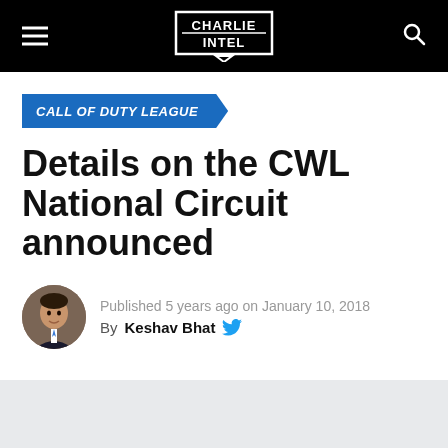Charlie Intel
CALL OF DUTY LEAGUE
Details on the CWL National Circuit announced
Published 5 years ago on January 10, 2018
By Keshav Bhat